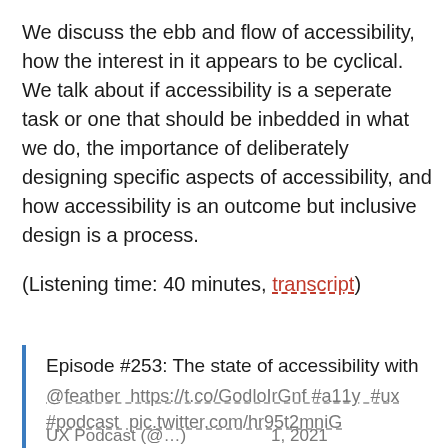We discuss the ebb and flow of accessibility, how the interest in it appears to be cyclical. We talk about if accessibility is a seperate task or one that should be inbedded in what we do, the importance of deliberately designing specific aspects of accessibility, and how accessibility is an outcome but inclusive design is a process.
(Listening time: 40 minutes, transcript)
Episode #253: The state of accessibility with @feather https://t.co/GodloIrGnf #a11y #ux #podcast pic.twitter.com/hr95t2mniG
UX Podcast (@...